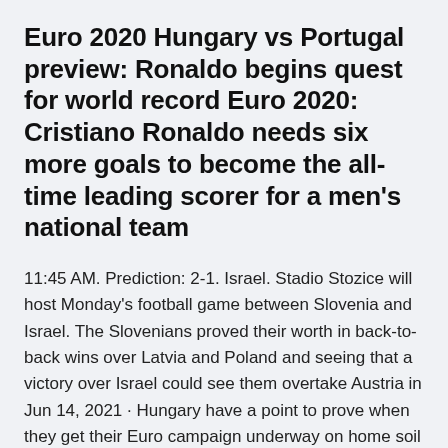Euro 2020 Hungary vs Portugal preview: Ronaldo begins quest for world record Euro 2020: Cristiano Ronaldo needs six more goals to become the all-time leading scorer for a men's national team
11:45 AM. Prediction: 2-1. Israel. Stadio Stozice will host Monday's football game between Slovenia and Israel. The Slovenians proved their worth in back-to-back wins over Latvia and Poland and seeing that a victory over Israel could see them overtake Austria in Jun 14, 2021 · Hungary have a point to prove when they get their Euro campaign underway on home soil against Portugal.